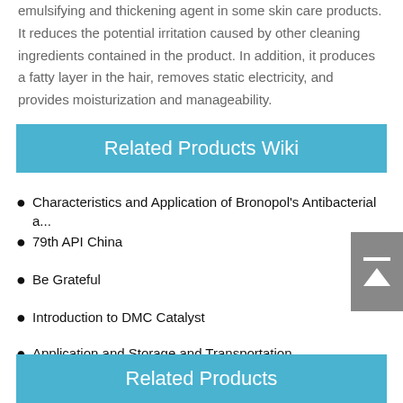emulsifying and thickening agent in some skin care products. It reduces the potential irritation caused by other cleaning ingredients contained in the product. In addition, it produces a fatty layer in the hair, removes static electricity, and provides moisturization and manageability.
Related Products Wiki
Characteristics and Application of Bronopol's Antibacterial a...
79th API China
Be Grateful
Introduction to DMC Catalyst
Application and Storage and Transportation Protection of Po...
By What Means Can Propionyl Chloride be Prepared?
Related Products